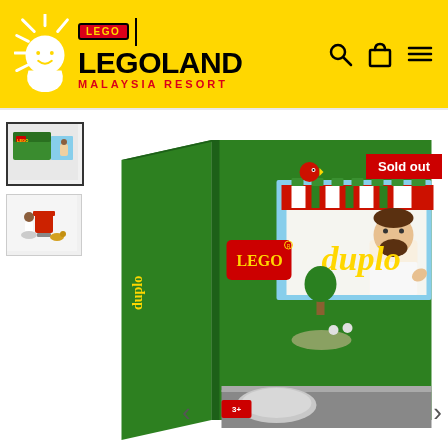[Figure (logo): LEGOLAND Malaysia Resort logo with sun graphic on yellow header background]
[Figure (screenshot): Product page showing LEGO Duplo pizza stand set box. Two thumbnails on left, main product image on right with red 'Sold out' badge. Navigation arrows at bottom.]